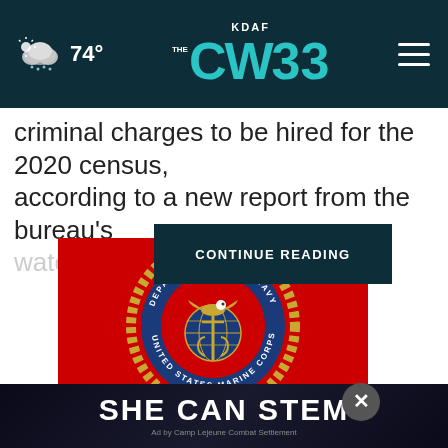74° | KDAF CW33
criminal charges to be hired for the 2020 census, according to a new report from the bureau's watchdog age
CONTINUE READING
[Figure (photo): United States Marine Corps Department of the Navy seal on a red background]
SHE CAN STEM
Ad by Camp Lejeune Combat Settlement